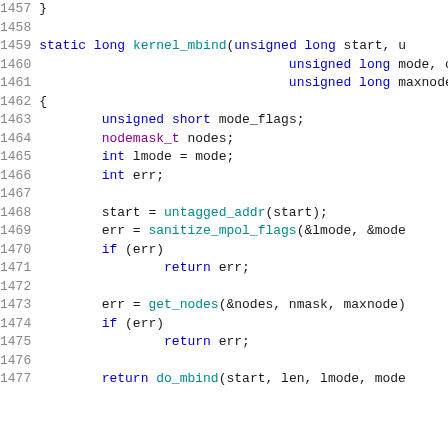[Figure (screenshot): Source code listing showing lines 1457-1477 of a C kernel function kernel_mbind, with syntax highlighting. Line numbers in gray on the left, keywords in blue, types in purple, function names in teal.]